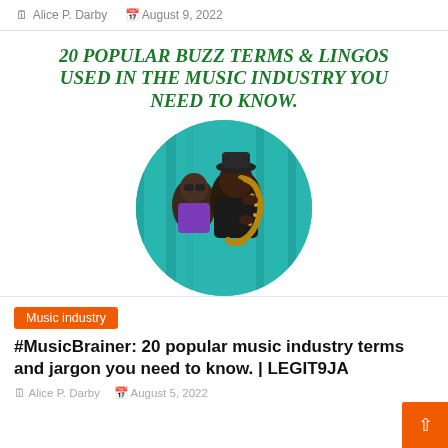Alice P. Darby   August 9, 2022
20 POPULAR BUZZ TERMS & LINGOS USED IN THE MUSIC INDUSTRY YOU NEED TO KNOW.
[Figure (photo): Circular cropped photo of two musicians, one playing a saxophone and another in background, with teal curtain backdrop.]
Music industry
#MusicBrainer: 20 popular music industry terms and jargon you need to know. | LEGIT9JA
Alice P. Darby   August 5, 2022